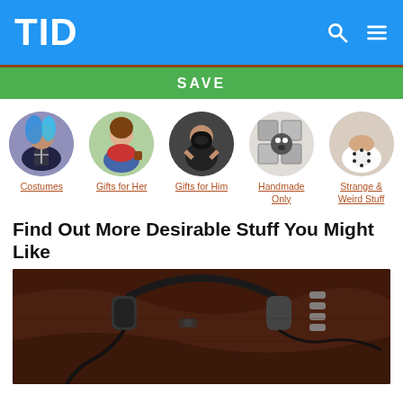TID
SAVE
[Figure (illustration): Category circle: Costumes - person with blue hair and costume]
Costumes
[Figure (illustration): Category circle: Gifts for Her - woman in red top]
Gifts for Her
[Figure (illustration): Category circle: Gifts for Him - masked muscular man]
Gifts for Him
[Figure (illustration): Category circle: Handmade Only - handmade craft item]
Handmade Only
[Figure (illustration): Category circle: Strange & Weird Stuff - novelty t-shirt]
Strange & Weird Stuff
Find Out More Desirable Stuff You Might Like
[Figure (photo): Close-up photo of headphones/earphones on brown leather surface]